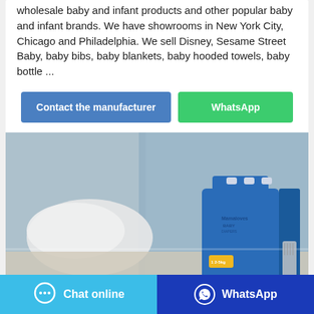wholesale baby and infant products and other popular baby and infant brands. We have showrooms in New York City, Chicago and Philadelphia. We sell Disney, Sesame Street Baby, baby bibs, baby blankets, baby hooded towels, baby bottle ...
Contact the manufacturer
WhatsApp
[Figure (photo): Product photo showing a box of Mamaloves Baby Diapers on a table with a blue and white background, white towels visible behind the box.]
Chat online
WhatsApp